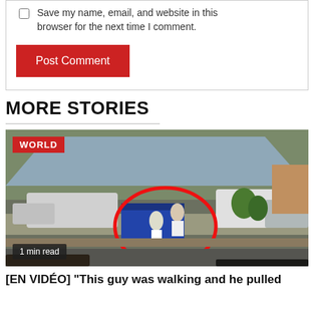Save my name, email, and website in this browser for the next time I comment.
Post Comment
MORE STORIES
[Figure (photo): Outdoor scene with people circled in red, a large blue container, cars, and a canopy. A red 'WORLD' badge is in the top-left and '1 min read' badge in the bottom-left.]
[EN VIDÉO] "This guy was walking and he pulled